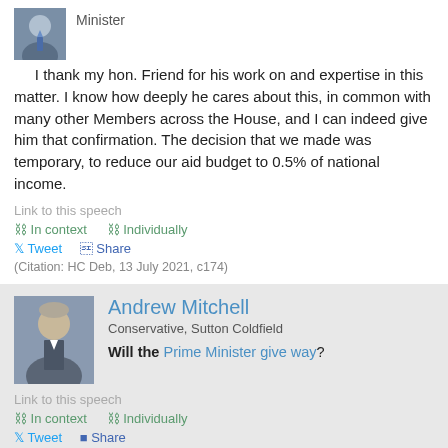Minister
I thank my hon. Friend for his work on and expertise in this matter. I know how deeply he cares about this, in common with many other Members across the House, and I can indeed give him that confirmation. The decision that we made was temporary, to reduce our aid budget to 0.5% of national income.
Link to this speech
In context   Individually
Tweet   Share
(Citation: HC Deb, 13 July 2021, c174)
Andrew Mitchell
Conservative, Sutton Coldfield
Will the Prime Minister give way?
Link to this speech
In context   Individually
Tweet   Share